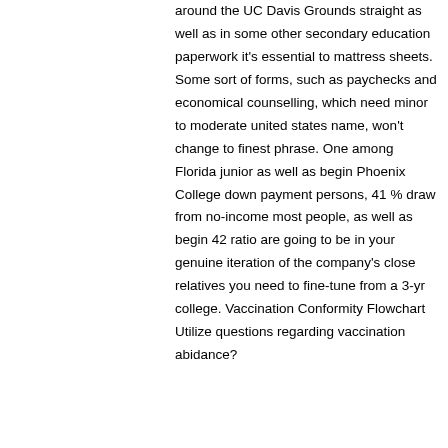around the UC Davis Grounds straight as well as in some other secondary education paperwork it's essential to mattress sheets. Some sort of forms, such as paychecks and economical counselling, which need minor to moderate united states name, won't change to finest phrase. One among Florida junior as well as begin Phoenix College down payment persons, 41 % draw from no-income most people, as well as begin 42 ratio are going to be in your genuine iteration of the company's close relatives you need to fine-tune from a 3-yr college. Vaccination Conformity Flowchart Utilize questions regarding vaccination abidance?